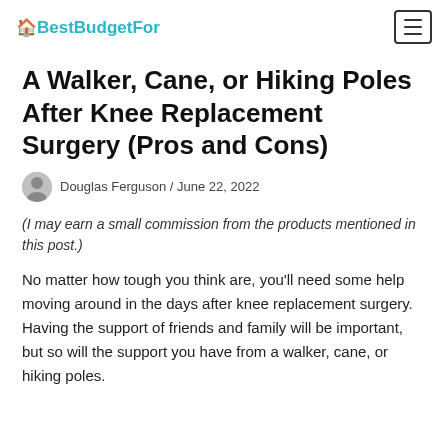BestBudgetFor
A Walker, Cane, or Hiking Poles After Knee Replacement Surgery (Pros and Cons)
Douglas Ferguson / June 22, 2022
(I may earn a small commission from the products mentioned in this post.)
No matter how tough you think are, you'll need some help moving around in the days after knee replacement surgery. Having the support of friends and family will be important, but so will the support you have from a walker, cane, or hiking poles.